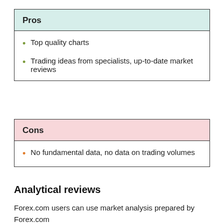Pros
Top quality charts
Trading ideas from specialists, up-to-date market reviews
Cons
No fundamental data, no data on trading volumes
Analytical reviews
Forex.com users can use market analysis prepared by Forex.com